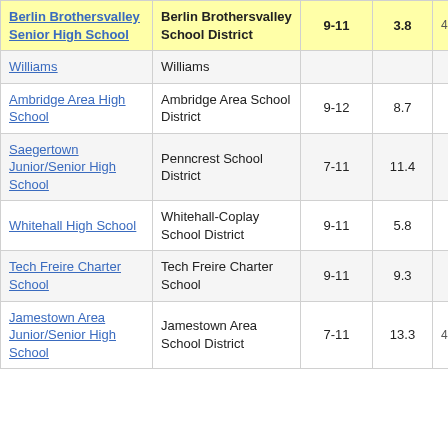| School | District | Grades | Score |  |
| --- | --- | --- | --- | --- |
| Berlin Brothersvalley Senior High School | Berlin Brothersvalley School District | 9-11 | 3.8 | 4 |
| Williams | Williams |  |  |  |
| Ambridge Area High School | Ambridge Area School District | 9-12 | 8.7 |  |
| Saegertown Junior/Senior High School | Penncrest School District | 7-11 | 11.4 |  |
| Whitehall High School | Whitehall-Coplay School District | 9-11 | 5.8 |  |
| Tech Freire Charter School | Tech Freire Charter School | 9-11 | 9.3 |  |
| Jamestown Area Junior/Senior High School | Jamestown Area School District | 7-11 | 13.3 | 4 |